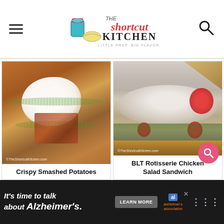The Shortcut Kitchen — LITTLE PREP. BIG FLAVOR.
[Figure (photo): Close-up of Crispy Smashed Potatoes topped with sour cream, bacon, and green onions in a white bowl. Watermark: ©TheShortcutKitchen.com]
Crispy Smashed Potatoes
[Figure (photo): BLT Rotisserie Chicken Salad Sandwich on toasted bread with lettuce, tomatoes, bacon, and creamy chicken salad. Watermark: ©TheShortcutKitchen.com]
BLT Rotisserie Chicken Salad Sandwich
[Figure (other): Advertisement banner: It's time to talk about Alzheimer's. LEARN MORE button. Alzheimer's Association logo. Dark background.]